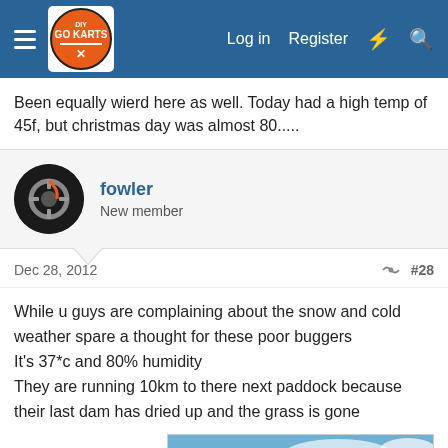DIY Go Karts — Log in | Register
Been equally wierd here as well. Today had a high temp of 45f, but christmas day was almost 80.....
fowler
New member
Dec 28, 2012   #28
While u guys are complaining about the snow and cold weather spare a thought for these poor buggers
It's 37*c and 80% humidity
They are running 10km to there next paddock because their last dam has dried up and the grass is gone
[Figure (photo): Outdoor field photograph showing dry grassland under a blue sky with clouds, taken from inside a vehicle.]